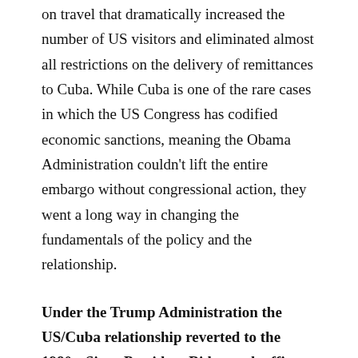on travel that dramatically increased the number of US visitors and eliminated almost all restrictions on the delivery of remittances to Cuba. While Cuba is one of the rare cases in which the US Congress has codified economic sanctions, meaning the Obama Administration couldn't lift the entire embargo without congressional action, they went a long way in changing the fundamentals of the policy and the relationship.
Under the Trump Administration the US/Cuba relationship reverted to the 1980s. Since President Biden took office little has changed. Technically the US embassy in Havana still exists, but it has few staff members. With almost no staff, they don't have the capacity to provide visas to Cubans for refugee admissions, family reunification or other options. This